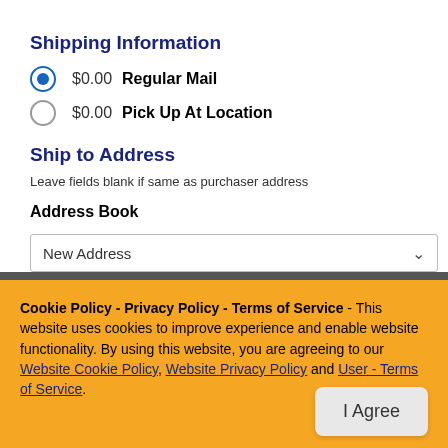Shipping Information
$0.00  Regular Mail (selected)
$0.00  Pick Up At Location
Ship to Address
Leave fields blank if same as purchaser address
Address Book
New Address
Cookie Policy - Privacy Policy - Terms of Service - This website uses cookies to improve experience and enable website functionality. By using this website, you are agreeing to our Website Cookie Policy, Website Privacy Policy and User - Terms of Service.
I Agree